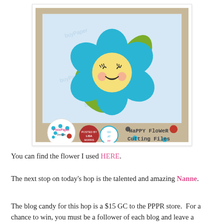[Figure (illustration): Product image of 'Happy Flower Cutting Files' showing a cute kawaii-style blue flower with green leaves, yellow center with smiling face, on a light blue background with tan/kraft frame. Bottom of image shows Pixie Paper Designs logo badge, 'Posted by Lisa Morris' button, another circular badge, and 'Happy Flower Cutting Files' text with decorative dots.]
You can find the flower I used HERE.
The next stop on today's hop is the talented and amazing Nanne.
The blog candy for this hop is a $15 GC to the PPPR store.  For a chance to win, you must be a follower of each blog and leave a